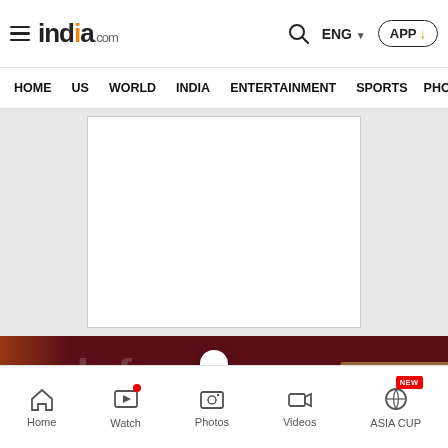india.com — ENG — APP
HOME  US  WORLD  INDIA  ENTERTAINMENT  SPORTS  PHO
[Figure (screenshot): White advertisement placeholder box on gray background]
[Figure (photo): Dark maroon background with 'dafone' text visible and a white ball/globe, orange figure on the left, and a blurred face at the bottom. A 'READ IN APP' badge is on the right side.]
[Figure (screenshot): Gray bar with white ad placeholder box]
Home  Watch  Photos  Videos  ASIA CUP